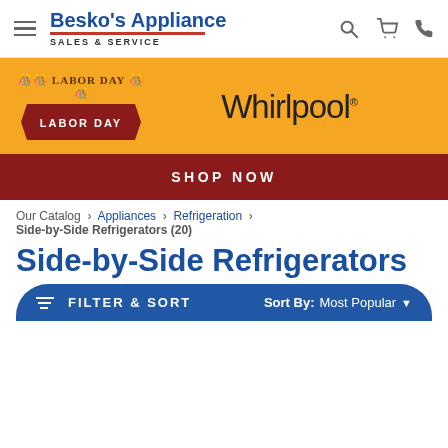Besko's Appliance SALES & SERVICE — navigation header with hamburger menu, search, cart, phone icons
[Figure (infographic): Orange promotional banner with Labor Day badge on left and Whirlpool logo on right, with a dark red SHOP NOW button below]
Our Catalog › Appliances › Refrigeration › Side-by-Side Refrigerators (20)
Side-by-Side Refrigerators
FILTER & SORT   Sort By: Most Popular